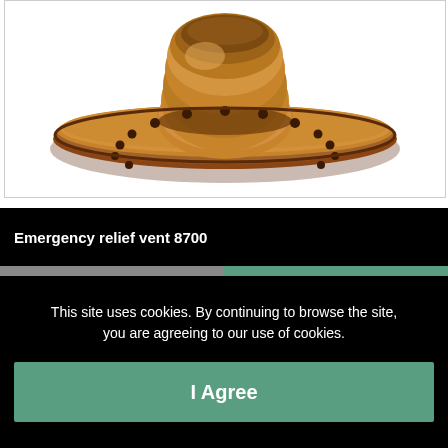[Figure (photo): Photo of an emergency relief vent component — a brown/amber-colored circular flanged fitting with bolt holes around the perimeter, viewed from above at a slight angle.]
Emergency relief vent 8700
This site uses cookies. By continuing to browse the site, you are agreeing to our use of cookies.
I Agree